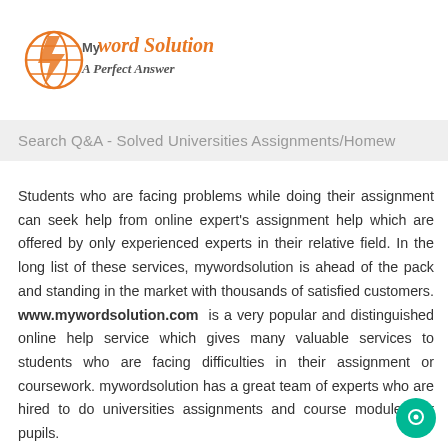[Figure (logo): My Word Solution logo with globe icon and tagline 'A Perfect Answer']
Search Q&A - Solved Universities Assignments/Homew
Students who are facing problems while doing their assignment can seek help from online expert's assignment help which are offered by only experienced experts in their relative field. In the long list of these services, mywordsolution is ahead of the pack and standing in the market with thousands of satisfied customers. www.mywordsolution.com is a very popular and distinguished online help service which gives many valuable services to students who are facing difficulties in their assignment or coursework. mywordsolution has a great team of experts who are hired to do universities assignments and course modules for pupils.